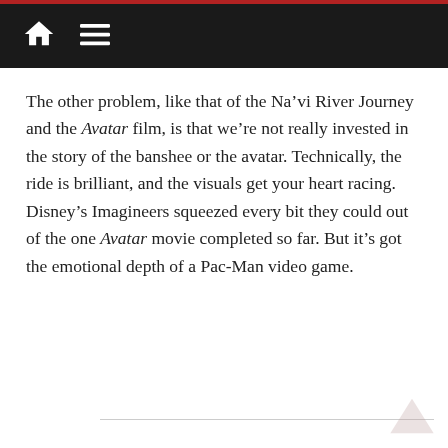Navigation bar with home and menu icons
The other problem, like that of the Na’vi River Journey and the Avatar film, is that we’re not really invested in the story of the banshee or the avatar. Technically, the ride is brilliant, and the visuals get your heart racing. Disney’s Imagineers squeezed every bit they could out of the one Avatar movie completed so far. But it’s got the emotional depth of a Pac-Man video game.